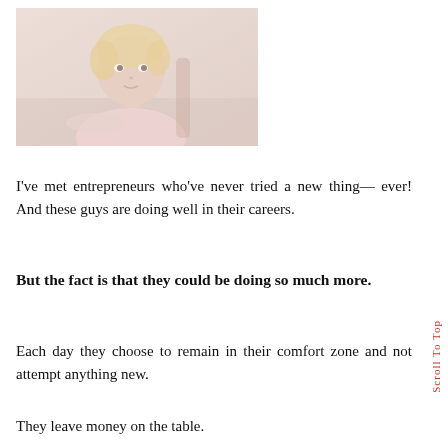[Figure (photo): A young blonde child sitting at a table, looking upward thoughtfully, wearing a light pink top. The photo has a faded, vintage look with warm tones.]
I've met entrepreneurs who've never tried a new thing— ever! And these guys are doing well in their careers.
But the fact is that they could be doing so much more.
Each day they choose to remain in their comfort zone and not attempt anything new.
They leave money on the table.